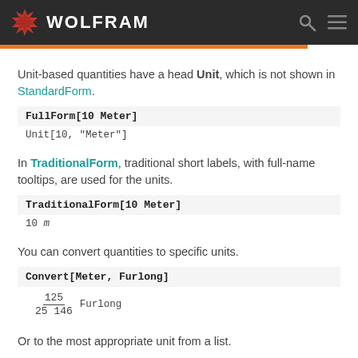WOLFRAM
Unit-based quantities have a head Unit, which is not shown in StandardForm.
FullForm[10 Meter]
Unit[10, "Meter"]
In TraditionalForm, traditional short labels, with full-name tooltips, are used for the units.
TraditionalForm[10 Meter]
10 m
You can convert quantities to specific units.
Convert[Meter, Furlong]
Or to the most appropriate unit from a list.